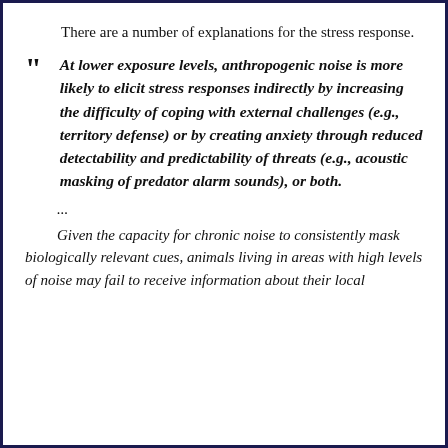There are a number of explanations for the stress response.
At lower exposure levels, anthropogenic noise is more likely to elicit stress responses indirectly by increasing the difficulty of coping with external challenges (e.g., territory defense) or by creating anxiety through reduced detectability and predictability of threats (e.g., acoustic masking of predator alarm sounds), or both.
...
Given the capacity for chronic noise to consistently mask biologically relevant cues, animals living in areas with high levels of noise may fail to receive information about their local